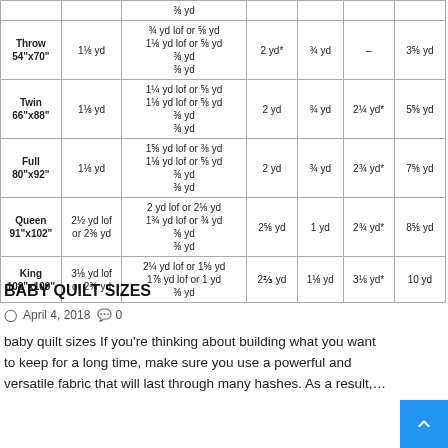|  |  |  | 2 yd | ¾ yd |  |  |
| --- | --- | --- | --- | --- | --- | --- |
| Throw
54"x70" | 1⅛ yd | ¾ yd lof or ⅝ yd
1⅛ yd lof or ⅝ yd
⅜ yd
⅜ yd | 2 yd* | ¾ yd | – | 3⅝ yd |
| Twin
66"x88" | 1⅛ yd | 1¼ yd lof or ⅝ yd
1⅛ yd lof or ⅝ yd
⅜ yd
⅜ yd | 2 yd | ¾ yd | 2¼ yd* | 5⅝ yd |
| Full
80"x92" | 1⅛ yd | 1⅝ yd lof or ⅜ yd
1⅛ yd lof or ⅝ yd
⅜ yd
⅜ yd | 2 yd | ¾ yd | 2¾ yd* | 7⅝ yd |
| Queen
91"x102" | 2½ yd lof
or 2⅜ yd | 2 yd lof or 2⅛ yd
1¾ yd lof or ¾ yd
⅜ yd
⅜ yd | 2⅝ yd | 1 yd | 2¾ yd* | 8⅝ yd |
| King
108"x109" | 3⅛ yd lof
or 2¾ yd | 2¼ yd lof or 1⅝ yd
1⅞ yd lof or 1 yd
⅜ yd | 2⅔ yd | 1⅛ yd | 3⅛ yd* | 10 yd |
BABY QUILT SIZES
April 4, 2018  0
baby quilt sizes If you're thinking about building what you want to keep for a long time, make sure you use a powerful and versatile fabric that will last through many hashes. As a result,…